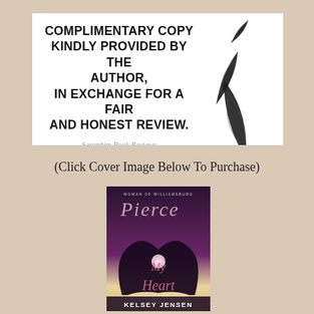[Figure (illustration): White box with bold black text reading 'COMPLIMENTARY COPY KINDLY PROVIDED BY THE AUTHOR, IN EXCHANGE FOR A FAIR AND HONEST REVIEW.' with decorative feather illustrations on the right side and 'Seraphim Book Reviews' in italic script at the bottom.]
(Click Cover Image Below To Purchase)
[Figure (illustration): Book cover for 'Pierce My Heart' by Kelsey Jensen. Shows two hands forming a heart shape with light glowing through, purple/dark tones, with script title text and author name at bottom.]